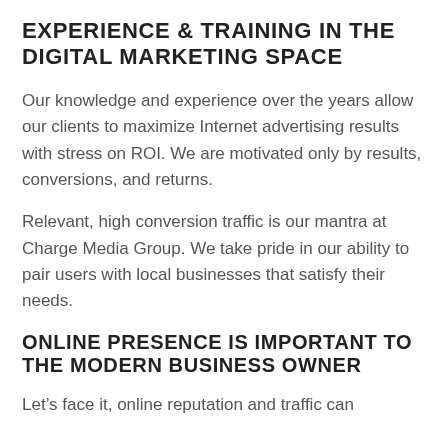EXPERIENCE & TRAINING IN THE DIGITAL MARKETING SPACE
Our knowledge and experience over the years allow our clients to maximize Internet advertising results with stress on ROI. We are motivated only by results, conversions, and returns.
Relevant, high conversion traffic is our mantra at Charge Media Group. We take pride in our ability to pair users with local businesses that satisfy their needs.
ONLINE PRESENCE IS IMPORTANT TO THE MODERN BUSINESS OWNER
Let’s face it, online reputation and traffic can